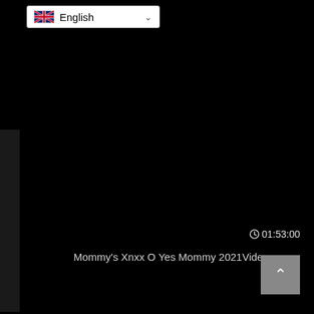[Figure (screenshot): Language selector dropdown showing UK flag and 'English' text with chevron, on a dark/black background page. A partial video thumbnail is visible on the left edge. A video duration '01:53:00' with clock icon is shown in the lower right area. A video title 'Mommy's Xnxx O Yes Mommy 2021Video' is displayed. A grey back-to-top button with up arrow is in the bottom right corner.]